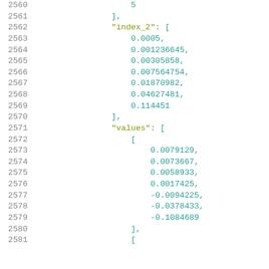Code listing showing JSON data with line numbers 2560–2581, including index_2 array and values array with numeric data